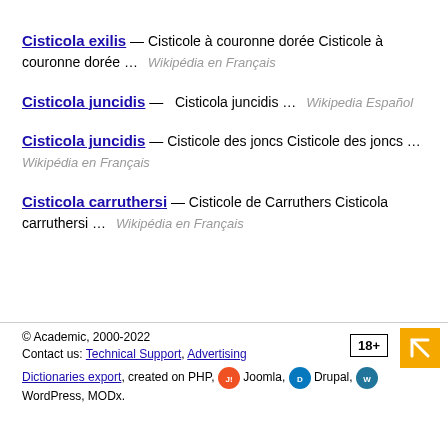Cisticola exilis — Cisticole à couronne dorée Cisticole à couronne dorée … Wikipédia en Français
Cisticola juncidis — Cisticola juncidis … Wikipedia Español
Cisticola juncidis — Cisticole des joncs Cisticole des joncs … Wikipédia en Français
Cisticola carruthersi — Cisticole de Carruthers Cisticola carruthersi … Wikipédia en Français
© Academic, 2000-2022
Contact us: Technical Support, Advertising
Dictionaries export, created on PHP, Joomla, Drupal, WordPress, MODx.